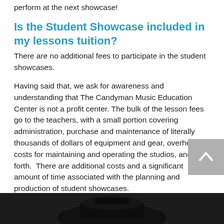perform at the next showcase!
Is the Student Showcase included in my lessons tuition?
There are no additional fees to participate in the student showcases.
Having said that, we ask for awareness and understanding that The Candyman Music Education Center is not a profit center. The bulk of the lesson fees go to the teachers, with a small portion covering administration, purchase and maintenance of literally thousands of dollars of equipment and gear, overhead costs for maintaining and operating the studios, and so forth.  There are additional costs and a significant amount of time associated with the planning and production of student showcases.
However, The Candyman believes that student performances are a valuable part
[Figure (other): Back-to-top navigation button (grey square with upward chevron arrow)]
[Figure (photo): Dark silhouette of music equipment at the bottom of the page]